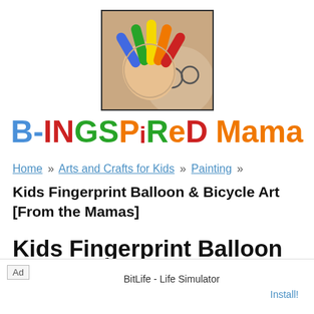[Figure (photo): Website logo image showing a child's hand painted with rainbow colors (fingers spread), held up to the camera, with a child's face partially visible behind it. Black border around the image.]
B-INSPIRED Mama
Home » Arts and Crafts for Kids » Painting »
Kids Fingerprint Balloon & Bicycle Art [From the Mamas]
Kids Fingerprint Balloon & Bicycle Art [From the Mamas]
Ad  BitLife - Life Simulator  Install!